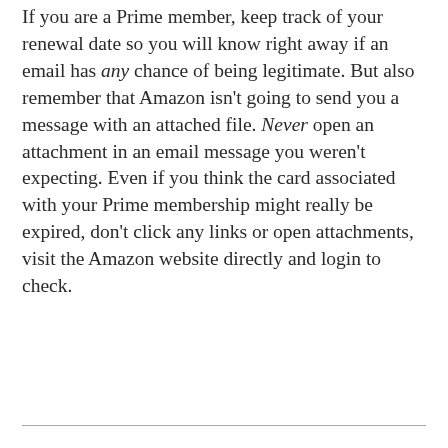If you are a Prime member, keep track of your renewal date so you will know right away if an email has any chance of being legitimate. But also remember that Amazon isn't going to send you a message with an attached file. Never open an attachment in an email message you weren't expecting. Even if you think the card associated with your Prime membership might really be expired, don't click any links or open attachments, visit the Amazon website directly and login to check.